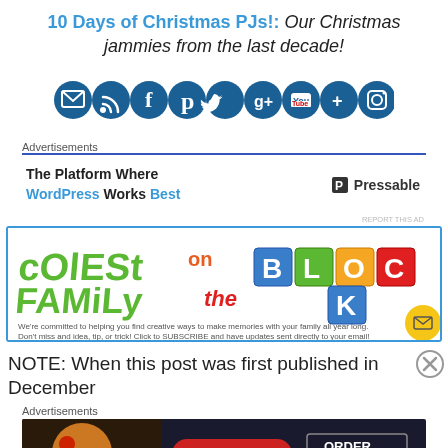10 Days of Christmas PJs!: Our Christmas jammies from the last decade!
[Figure (infographic): Row of 9 circular dark blue social media icon buttons: email, RSS, Facebook, Pinterest, Twitter, Google+, YouTube, Google+, Instagram]
Advertisements
[Figure (infographic): Advertisement banner: The Platform Where WordPress Works Best - Pressable]
REPORT THIS AD
[Figure (infographic): Coolest Family on the Block banner ad with colorful block letters and text: We're committed to helping you find creative ways to make memories with your family all year long. Don't miss and idea, tip, or trick! Click to SUBSCRIBE and have updates sent directly to your email!]
NOTE: When this post was first published in December
Advertisements
[Figure (infographic): Seamless food delivery advertisement with pizza image, seamless logo, and ORDER NOW button]